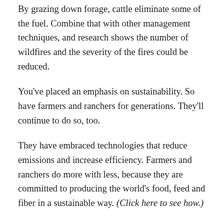By grazing down forage, cattle eliminate some of the fuel. Combine that with other management techniques, and research shows the number of wildfires and the severity of the fires could be reduced.
You've placed an emphasis on sustainability. So have farmers and ranchers for generations. They'll continue to do so, too.
They have embraced technologies that reduce emissions and increase efficiency. Farmers and ranchers do more with less, because they are committed to producing the world's food, feed and fiber in a sustainable way. (Click here to see how.)
As for cattle, they upcycle land that is unsuitable for human food production, and...